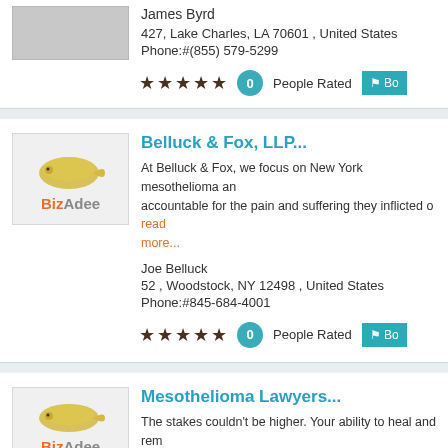James Byrd
427, Lake Charles, LA 70601 , United States
Phone:#(855) 579-5299
[Figure (other): 5 star rating, 0 People Rated, Bookmark button]
Belluck & Fox, LLP...
At Belluck & Fox, we focus on New York mesothelioma an... accountable for the pain and suffering they inflicted o read more...
Joe Belluck
52 , Woodstock, NY 12498 , United States
Phone:#845-684-4001
[Figure (other): 5 star rating, 0 People Rated, Bookmark button]
Mesothelioma Lawyers...
The stakes couldn't be higher. Your ability to heal and rem... you take right now. To fully focus on the he read more...